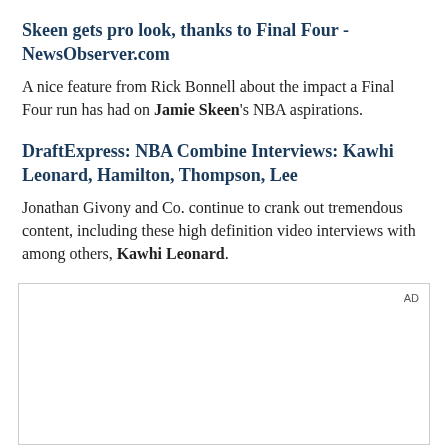Skeen gets pro look, thanks to Final Four - NewsObserver.com
A nice feature from Rick Bonnell about the impact a Final Four run has had on Jamie Skeen's NBA aspirations.
DraftExpress: NBA Combine Interviews: Kawhi Leonard, Hamilton, Thompson, Lee
Jonathan Givony and Co. continue to crank out tremendous content, including these high definition video interviews with among others, Kawhi Leonard.
[Figure (other): Advertisement placeholder box with 'AD' label in upper right corner]